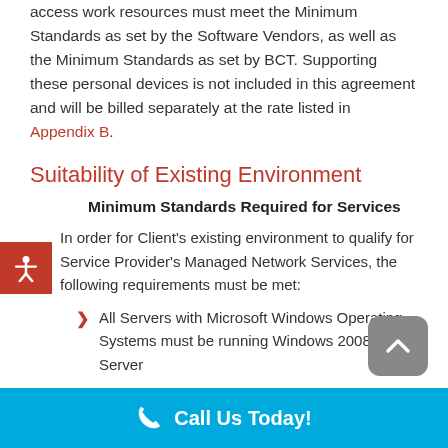access work resources must meet the Minimum Standards as set by the Software Vendors, as well as the Minimum Standards as set by BCT. Supporting these personal devices is not included in this agreement and will be billed separately at the rate listed in Appendix B.
Suitability of Existing Environment
Minimum Standards Required for Services
In order for Client's existing environment to qualify for Service Provider's Managed Network Services, the following requirements must be met:
All Servers with Microsoft Windows Operating Systems must be running Windows 2008 Server
Call Us Today!